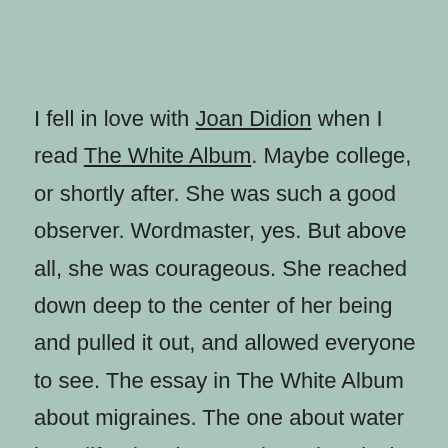I fell in love with Joan Didion when I read The White Album. Maybe college, or shortly after. She was such a good observer. Wordmaster, yes. But above all, she was courageous. She reached down deep to the center of her being and pulled it out, and allowed everyone to see. The essay in The White Album about migraines. The one about water in California. The one about the Black Panthers, and then one about Doris Lessing. If we look carefully at the treatment of all these diverse subjects, we see her reflecting, shaping.

She continues revealing herself with this